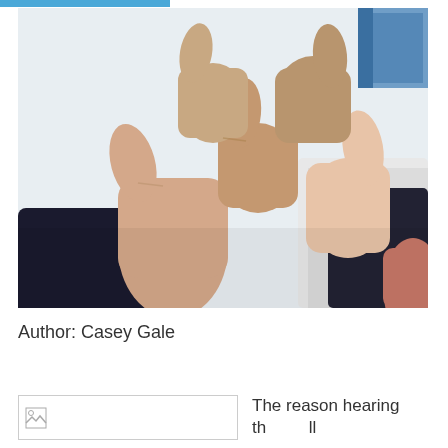[Figure (photo): Multiple hands giving thumbs up gestures meeting in the center, people wearing business attire (dark suit, white shirt), light background]
Author: Casey Gale
[Figure (photo): Broken/placeholder image thumbnail]
The reason hearing